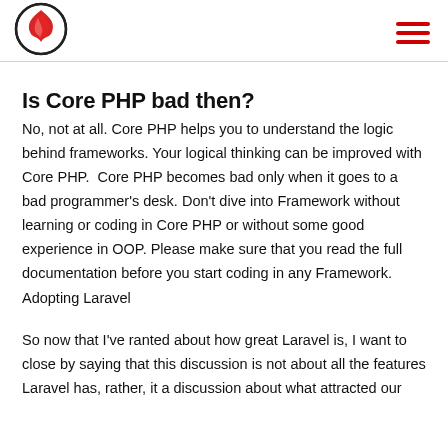[Logo] [Hamburger menu]
Is Core PHP bad then?
No, not at all. Core PHP helps you to understand the logic behind frameworks. Your logical thinking can be improved with Core PHP.  Core PHP becomes bad only when it goes to a bad programmer's desk. Don't dive into Framework without learning or coding in Core PHP or without some good experience in OOP. Please make sure that you read the full documentation before you start coding in any Framework.
Adopting Laravel
So now that I've ranted about how great Laravel is, I want to close by saying that this discussion is not about all the features Laravel has, rather, it a discussion about what attracted our